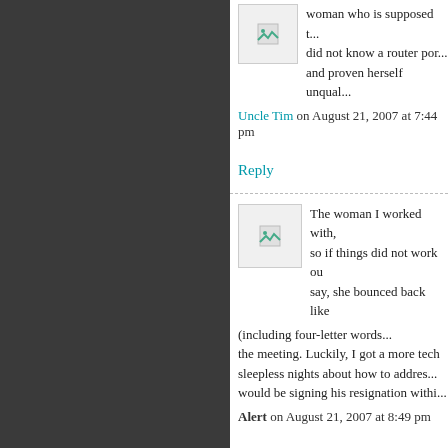[Figure (illustration): User avatar placeholder image (top comment)]
woman who is supposed t... did not know a router por... and proven herself unqual...
Uncle Tim on August 21, 2007 at 7:44 pm
Reply
[Figure (illustration): User avatar placeholder image (middle comment)]
The woman I worked with, so if things did not work ou say, she bounced back lik... (including four-letter words... the meeting. Luckily, I got a more tech sleepless nights about how to addres... would be signing his resignation withi...
Alert on August 21, 2007 at 8:49 pm
Reply
[Figure (illustration): User avatar placeholder image (bottom comment)]
Rich B, I wish what you're... incompetent women. One... courses, and stealing "tho...